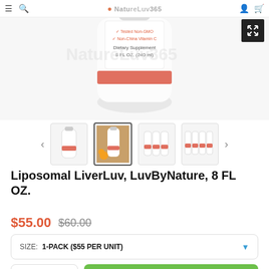Navigation bar with menu, search, logo NatureLuv365, user and cart icons
[Figure (photo): Product bottle of Liposomal LiverLuv dietary supplement, 8 FL OZ 240ml, white bottle with orange-red stripe, showing Non-China Vitamin C and Non-GMO labels]
[Figure (photo): Thumbnail row: single bottle, bottle with oranges on wood surface (selected/active), 4-pack of bottles, 6-pack of bottles]
Liposomal LiverLuv, LuvByNature, 8 FL OZ.
$55.00  $60.00
SIZE: 1-PACK ($55 PER UNIT)
Add to cart button and quantity selector